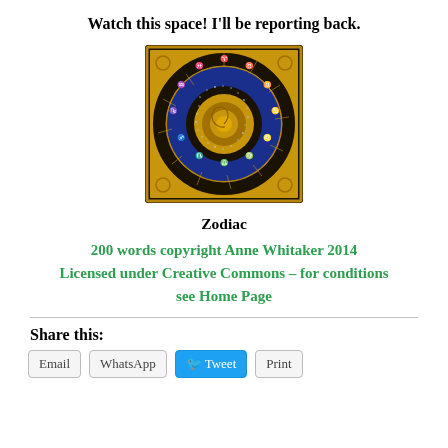Watch this space! I'll be reporting back.
[Figure (illustration): A decorative zodiac wheel image with gold zodiac symbols arranged in a circle on a dark background with a blue starfield inner ring and golden spiral center, set against a gold-bordered dark square frame.]
Zodiac
200 words copyright Anne Whitaker 2014
Licensed under Creative Commons – for conditions see Home Page
Share this: